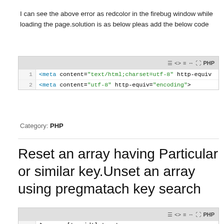I can see the above error as redcolor in the firebug window while loading the page.solution is as below pleas add the below code
[Figure (screenshot): Code block showing PHP code: line 1: <meta content="text/html;charset=utf-8" http-equiv... line 2: <meta content="utf-8" http-equiv="encoding">]
Category: PHP
Reset an array having Particular or similar key.Unset an array using pregmatach key search
[Figure (screenshot): Code block showing PHP code: line 1: $myarray['my_id']='sss';]